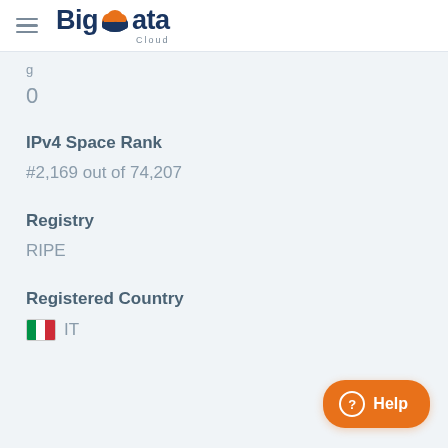BigData Cloud
0
IPv4 Space Rank
#2,169 out of 74,207
Registry
RIPE
Registered Country
IT